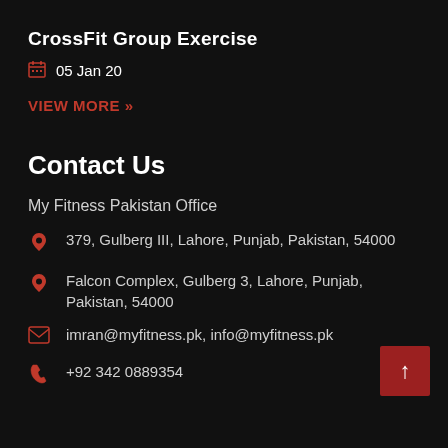CrossFit Group Exercise
05 Jan 20
VIEW MORE »
Contact Us
My Fitness Pakistan Office
379, Gulberg III, Lahore, Punjab, Pakistan, 54000
Falcon Complex, Gulberg 3, Lahore, Punjab, Pakistan, 54000
imran@myfitness.pk, info@myfitness.pk
+92 342 0889354